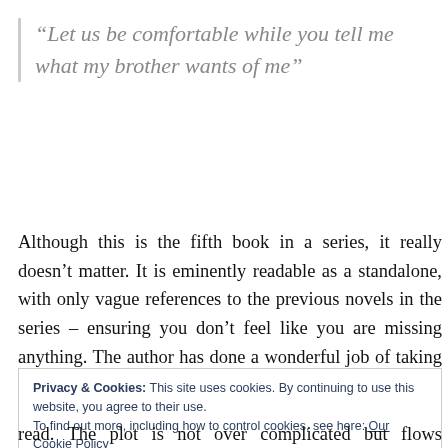“Let us be comfortable while you tell me what my brother wants of me”
Although this is the fifth book in a series, it really doesn’t matter. It is eminently readable as a standalone, with only vague references to the previous novels in the series – ensuring you don’t feel like you are missing anything. The author has done a wonderful job of taking the reader on a journey through post-Revolutionary Paris. You can
Privacy & Cookies: This site uses cookies. By continuing to use this website, you agree to their use.
To find out more, including how to control cookies, see here: Our Cookie Policy
Close and accept
read. The plot is not over complicated but flows smoothly